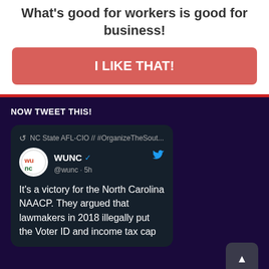What's good for workers is good for business!
I LIKE THAT!
NOW TWEET THIS!
[Figure (screenshot): Embedded tweet card from @wunc (WUNC radio, verified) retweeted by NC State AFL-CIO // #OrganizeTheSout... Posted 5h ago. Tweet text: It's a victory for the North Carolina NAACP. They argued that lawmakers in 2018 illegally put the Voter ID and income tax cap]